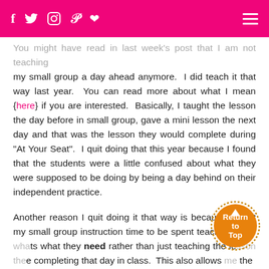Social media icons (f, twitter, instagram, pinterest, heart) and hamburger menu
You might have read in last week's post that I am not teaching my small group a day ahead anymore.  I did teach it that way last year.  You can read more about what I mean {here} if you are interested.  Basically, I taught the lesson the day before in small group, gave a mini lesson the next day and that was the lesson they would complete during "At Your Seat".  I quit doing that this year because I found that the students were a little confused about what they were supposed to be doing by being a day behind on their independent practice.
Another reason I quit doing it that way is because I want my small group instruction time to be spent teaching them what they need rather than just teaching the lesson they are completing that day in class.  This also allows me the
[Figure (illustration): Orange circular 'Return to Top' badge with an upward arrow and dotted border]